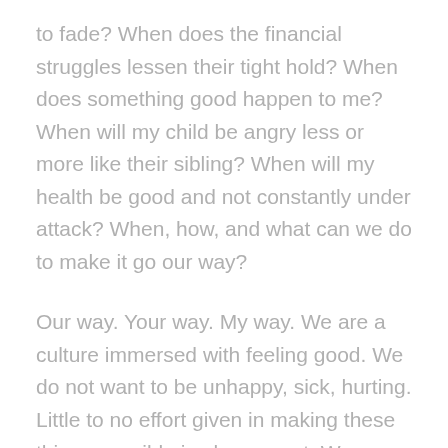to fade? When does the financial struggles lessen their tight hold? When does something good happen to me? When will my child be angry less or more like their sibling? When will my health be good and not constantly under attack? When, how, and what can we do to make it go our way?
Our way. Your way. My way. We are a culture immersed with feeling good. We do not want to be unhappy, sick, hurting. Little to no effort given in making these things possible is also a must. We blame the younger generations for all of this but as a whole, we are all to blame. It is so easy to get caught up in an effortless fix, quicker results, and short term pleasures.
I almost did that today. I started to get caught up in that short term pleasure to ease my hurts. But the